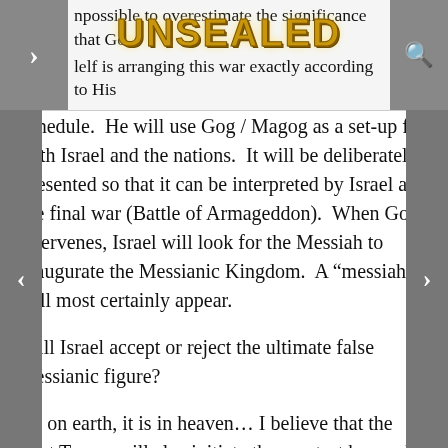npossible to overestimate the significance that God Himself is arranging this war exactly according to His schedule.
[Figure (logo): UNSEALED logo in gold metallic text on navigation bar]
schedule.  He will use Gog / Magog as a set-up for both Israel and the nations.  It will be deliberately presented so that it can be interpreted by Israel as the final war (Battle of Armageddon).  When God intervenes, Israel will look for the Messiah to inaugurate the Messianic Kingdom.  A “messiah” will most certainly appear.
Will Israel accept or reject the ultimate false messianic figure?
As on earth, it is in heaven… I believe that the Last Trump will also initiate the greatest heavenly battle of all time.  I believe that THIS is the “heavenly dragon sign” we have been watching for.  I believe it will occur in conjunction with the rapture.  as we go up, the angelic hosts go to war.